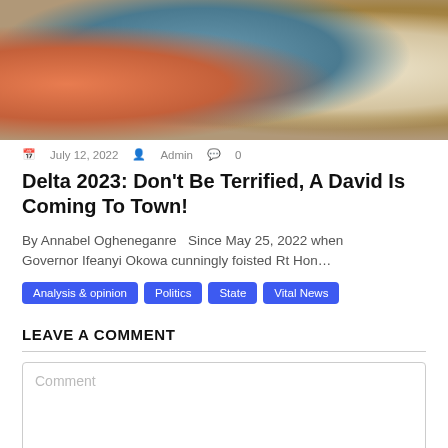[Figure (photo): Group of people at an event, woman in orange headwrap on left, man in white agbada in center, others in colorful attire]
July 12, 2022  Admin  0
Delta 2023: Don't Be Terrified, A David Is Coming To Town!
By Annabel Ogheneganre   Since May 25, 2022 when Governor Ifeanyi Okowa cunningly foisted Rt Hon…
Analysis & opinion
Politics
State
Vital News
LEAVE A COMMENT
Comment